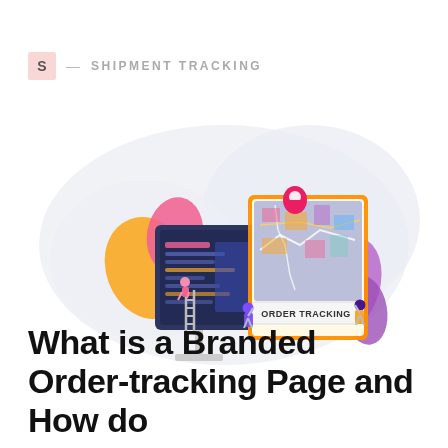S — SHIPMENT TRACKING
[Figure (illustration): Illustration of two people holding an 'ORDER TRACKING' banner in front of a large computer monitor showing a dashboard interface. A map with location pin is displayed on an overlapping screen. Decorative colorful shapes (orange, pink, purple, green) surround the scene against a light cloud-shaped background.]
What is a Branded Order-tracking Page and How do